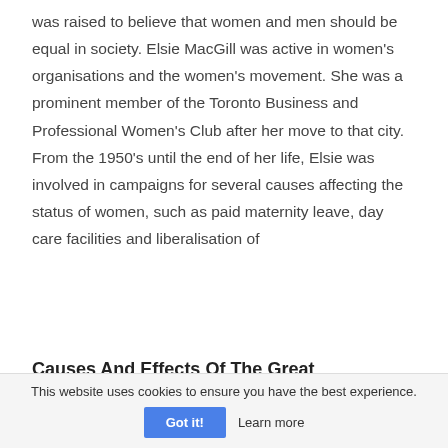was raised to believe that women and men should be equal in society. Elsie MacGill was active in women's organisations and the women's movement. She was a prominent member of the Toronto Business and Professional Women's Club after her move to that city. From the 1950's until the end of her life, Elsie was involved in campaigns for several causes affecting the status of women, such as paid maternity leave, day care facilities and liberalisation of
Causes And Effects Of The Great Depression In America
This website uses cookies to ensure you have the best experience.
Got it!   Learn more